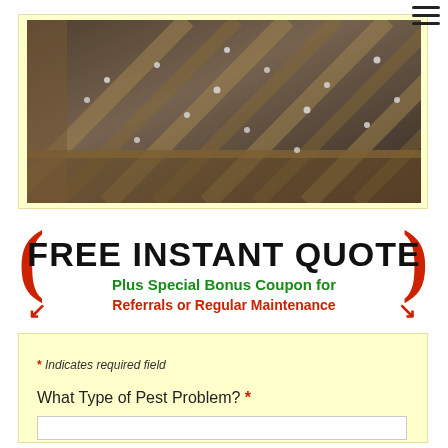[Figure (photo): Attic or crawl space photo showing insulation, wood beams, and small white dots (possibly pest droppings or treatment pellets)]
[Figure (infographic): FREE INSTANT QUOTE banner with red curls/arrows, black bold text 'FREE INSTANT QUOTE', green text 'Plus Special Bonus Coupon for', red text 'Referrals or Regular Maintenance']
* Indicates required field
What Type of Pest Problem? *